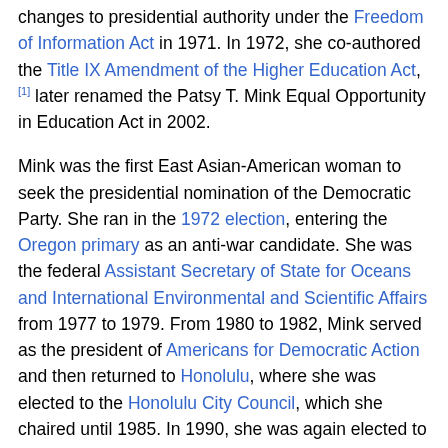changes to presidential authority under the Freedom of Information Act in 1971. In 1972, she co-authored the Title IX Amendment of the Higher Education Act,[1] later renamed the Patsy T. Mink Equal Opportunity in Education Act in 2002.

Mink was the first East Asian-American woman to seek the presidential nomination of the Democratic Party. She ran in the 1972 election, entering the Oregon primary as an anti-war candidate. She was the federal Assistant Secretary of State for Oceans and International Environmental and Scientific Affairs from 1977 to 1979. From 1980 to 1982, Mink served as the president of Americans for Democratic Action and then returned to Honolulu, where she was elected to the Honolulu City Council, which she chaired until 1985. In 1990, she was again elected to the U.S. House, serving until her death in